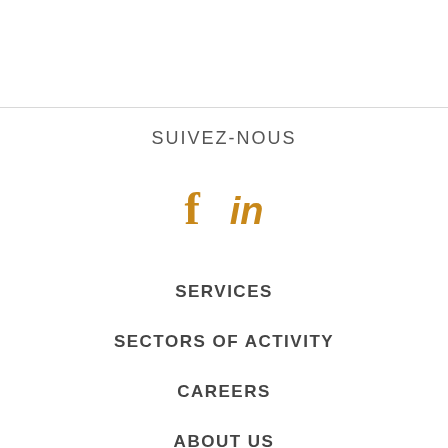SUIVEZ-NOUS
[Figure (illustration): Social media icons: Facebook (f) and LinkedIn (in) in golden/amber color]
SERVICES
SECTORS OF ACTIVITY
CAREERS
ABOUT US
CONTACT US